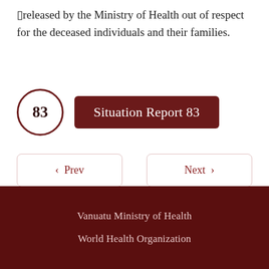released by the Ministry of Health out of respect for the deceased individuals and their families.
Situation Report 83
Prev
Next
Vanuatu Ministry of Health
World Health Organization